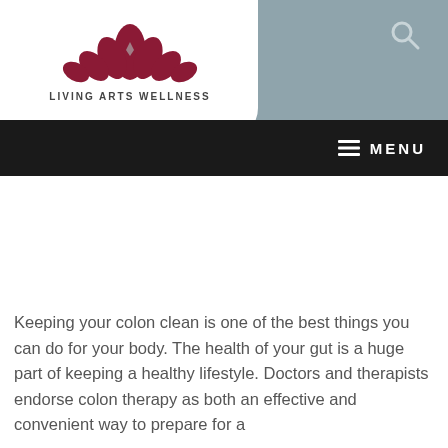[Figure (logo): Living Arts Wellness logo with dark red lotus flower emblem above the text 'LIVING ARTS WELLNESS']
[Figure (other): Search icon (magnifying glass) in the top right of the grayish-blue header panel]
≡  MENU
Keeping your colon clean is one of the best things you can do for your body. The health of your gut is a huge part of keeping a healthy lifestyle. Doctors and therapists endorse colon therapy as both an effective and convenient way to prepare for a